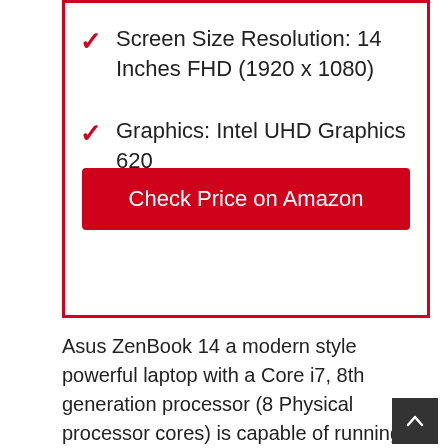Screen Size Resolution: 14 Inches FHD (1920 x 1080)
Graphics: Intel UHD Graphics 620
[Figure (other): Red button labeled 'Check Price on Amazon']
Asus ZenBook 14 a modern style powerful laptop with a Core i7, 8th generation processor (8 Physical processor cores) is capable of running business and development applications such as Android Studio, SQL Server Management Studio, etc.